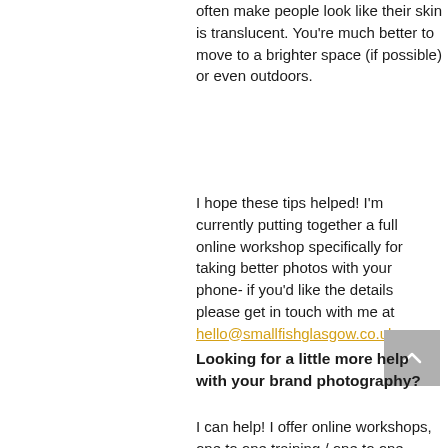often make people look like their skin is translucent. You're much better to move to a brighter space (if possible) or even outdoors.
I hope these tips helped! I'm currently putting together a full online workshop specifically for taking better photos with your phone- if you'd like the details please get in touch with me at hello@smallfishglasgow.co.uk.
Looking for a little more help with your brand photography?
I can help! I offer online workshops, one to one training / one to one...